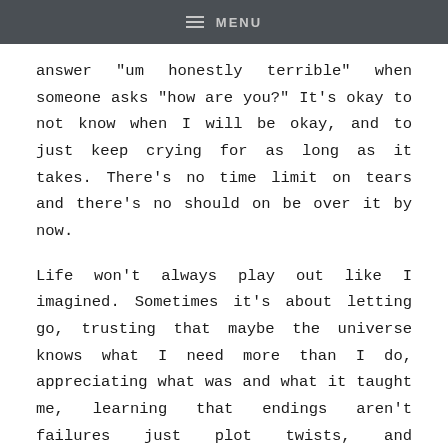MENU
answer "um honestly terrible" when someone asks "how are you?" It's okay to not know when I will be okay, and to just keep crying for as long as it takes. There's no time limit on tears and there's no should on be over it by now.
Life won't always play out like I imagined. Sometimes it's about letting go, trusting that maybe the universe knows what I need more than I do, appreciating what was and what it taught me, learning that endings aren't failures just plot twists, and remembering the perspective my sister once told me and I will never forget: you didn't lose them, they lost you.